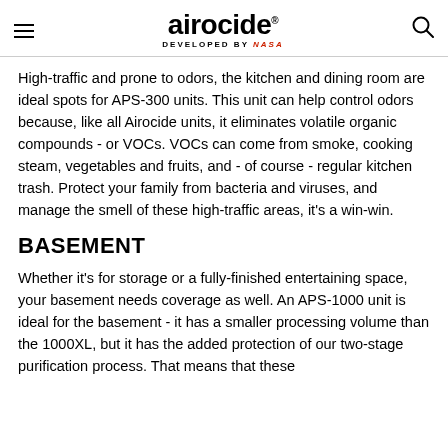airocide DEVELOPED BY NASA
High-traffic and prone to odors, the kitchen and dining room are ideal spots for APS-300 units. This unit can help control odors because, like all Airocide units, it eliminates volatile organic compounds - or VOCs. VOCs can come from smoke, cooking steam, vegetables and fruits, and - of course - regular kitchen trash. Protect your family from bacteria and viruses, and manage the smell of these high-traffic areas, it’s a win-win.
BASEMENT
Whether it’s for storage or a fully-finished entertaining space, your basement needs coverage as well. An APS-1000 unit is ideal for the basement - it has a smaller processing volume than the 1000XL, but it has the added protection of our two-stage purification process. That means that these